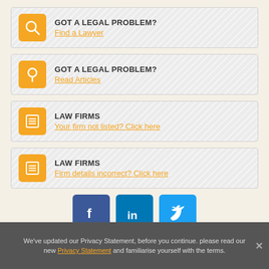GOT A LEGAL PROBLEM? Find a Lawyer
GOT A LEGAL PROBLEM? Read Articles
LAW FIRMS Your firm not listed? Click here
LAW FIRMS Firm details incorrect? Click here
[Figure (infographic): Social media icons: Facebook (dark blue), LinkedIn (medium blue), Twitter (light blue)]
We've updated our Privacy Statement, before you continue. please read our new Privacy Statement and familiarise yourself with the terms.